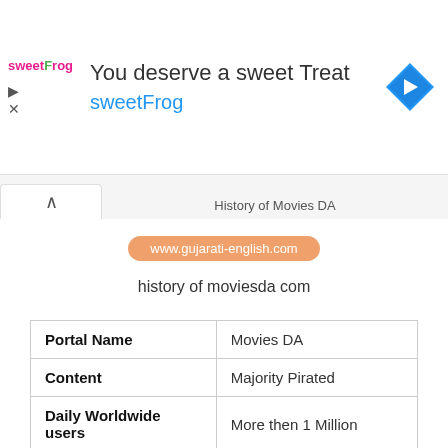[Figure (other): Advertisement banner for sweetFrog frozen yogurt: 'You deserve a sweet Treat' with sweetFrog logo and navigation arrow icon]
History of Movies DA
www.gujarati-english.com
history of moviesda com
| Portal Name | Movies DA |
| --- | --- |
| Content | Majority Pirated |
| Daily Worldwide users | More then 1 Million |
| Availability | Available Worldwide |
| Legal In India? | No |